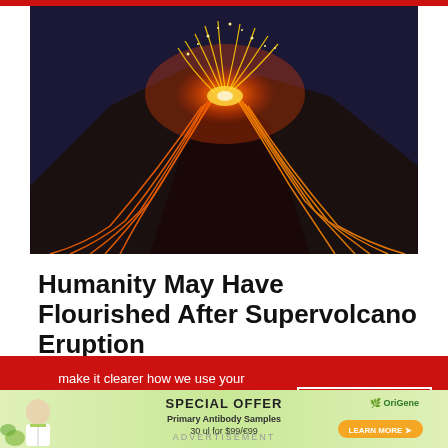[Figure (photo): Volcano eruption at night with glowing orange and red lava sparks shooting into a dark blue sky, lava streams flowing down the dark mountainside]
Humanity May Have Flourished After Supervolcano Eruption
make it clearer how we use your personal data. Please read our Cookie Policy to learn how we use cookies to provide you
I UNDERSTAND
[Figure (infographic): Advertisement: Special Offer Primary Antibody Samples 30 ul for $99/€99, OriGene, Learn More]
ADVERTISEMENT